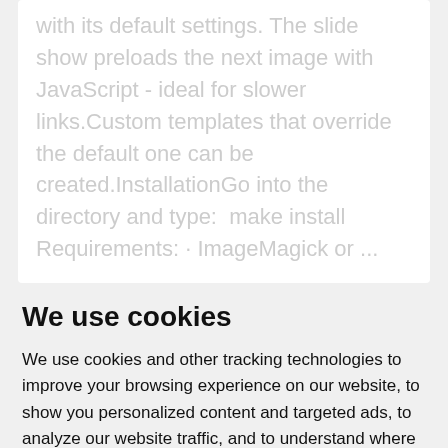with its default settings. The slide show preloads the next image with JavaScript - ideal for slower links.Custom templates that override the default one can be created.InstallationGo into the directory and type:  make install Requirements: · ImageMagick or ...
We use cookies
We use cookies and other tracking technologies to improve your browsing experience on our website, to show you personalized content and targeted ads, to analyze our website traffic, and to understand where our visitors are coming from.
I agree   Change my preferences